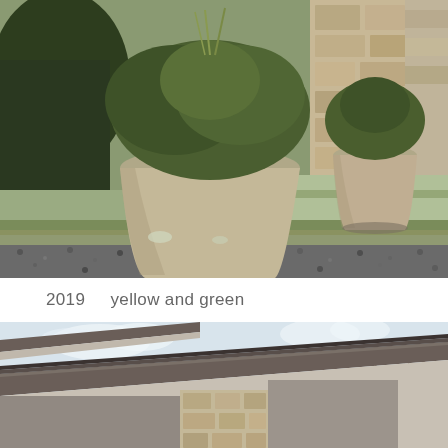[Figure (photo): Outdoor entryway scene with two large concrete/stone planters containing green shrubs, set on moss-covered stone steps with gravel below. Stone facade visible in background.]
2019    yellow and green
[Figure (photo): Close-up of a house roofline/eave with dark brownish-grey trim/fascia against a light grey/beige soffit. Stone chimney or column visible below, bare winter trees in background sky.]